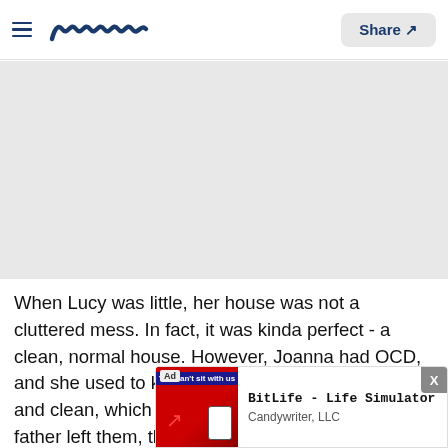Meaww — Share
[Figure (photo): Gray placeholder image area for an article image]
When Lucy was little, her house was not a cluttered mess. In fact, it was kinda perfect - a clean, normal house. However, Joanna had OCD, and she used to keep everything in perfect order and clean, which irritated everyone. Once Lucy's father left them, the nature of Joanna... house
[Figure (screenshot): Ad overlay: BitLife - Life Simulator by Candywriter, LLC with an image from 'You can't sit with us' app ad. Close button X visible.]